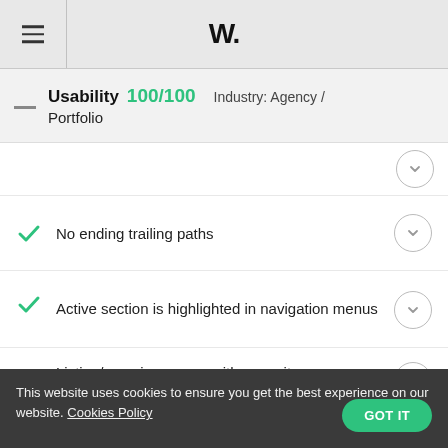W.
Usability 100/100  Industry: Agency / Portfolio
No ending trailing paths
Active section is highlighted in navigation menus
Listing/overview pages with many items implements deferred loading techniques
This website uses cookies to ensure you get the best experience on our website. Cookies Policy